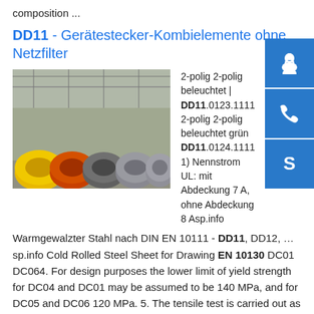composition ...
DD11 - Gerätestecker-Kombielemente ohne Netzfilter
[Figure (photo): Industrial warehouse with large rolls of steel wire or cable stacked on floor, yellow and multicolored spools visible.]
2-polig 2-polig beleuchtet | DD11.0123.1111 2-polig 2-polig beleuchtet grün DD11.0124.1111 1) Nennstrom UL: mit Abdeckung 7 A, ohne Abdeckung 8 Asp.info
Warmgewalzter Stahl nach DIN EN 10111 - DD11, DD12, …sp.info Cold Rolled Steel Sheet for Drawing EN 10130 DC01 DC064. For design purposes the lower limit of yield strength for DC04 and DC01 may be assumed to be 140 MPa, and for DC05 and DC06 120 MPa. 5. The tensile test is carried out as described in EN 10002 Part 1 using type 2 specimens (initial gauge length Lo = 80mm). Yield strength is determined by the 0.2% off-set method. The test pieces